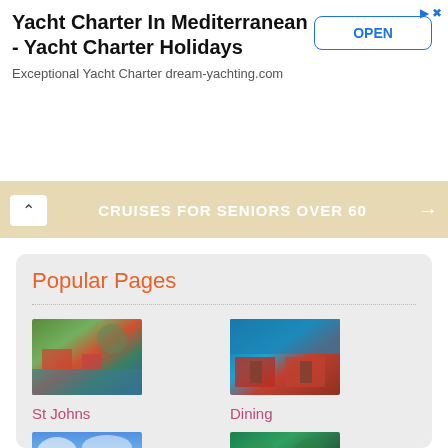Yacht Charter In Mediterranean - Yacht Charter Holidays
Exceptional Yacht Charter dream-yachting.com
CRUISES FOR SENIORS OVER 60
Popular Pages
[Figure (photo): Aerial view of St Johns harbour with red roofed buildings and water]
St Johns
[Figure (photo): Outdoor dining area with chairs and tables overlooking turquoise water]
Dining
[Figure (photo): Sandy beach with blue sky and clear waters in Antigua]
Antigua Beaches
[Figure (photo): Aerial view of Nelson's Dockyard with green hills and marina]
Nelson's Dockyard